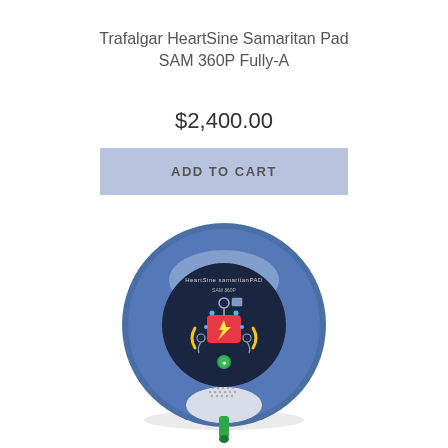Trafalgar HeartSine Samaritan Pad SAM 360P Fully-A
$2,400.00
ADD TO CART
[Figure (photo): HeartSine Samaritan PAD SAM 360P AED defibrillator device, round shaped, blue and white, with instruction icons on face panel and green connector at bottom.]